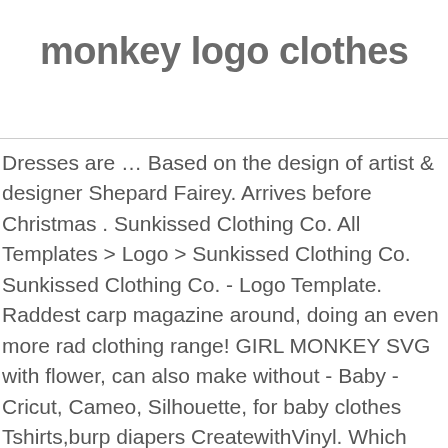monkey logo clothes
Dresses are … Based on the design of artist & designer Shepard Fairey. Arrives before Christmas . Sunkissed Clothing Co. All Templates > Logo > Sunkissed Clothing Co. Sunkissed Clothing Co. - Logo Template. Raddest carp magazine around, doing an even more rad clothing range! GIRL MONKEY SVG with flower, can also make without - Baby - Cricut, Cameo, Silhouette, for baby clothes Tshirts,burp diapers CreatewithVinyl. Which elements to choose? Inspired designs on t-shirts, posters, stickers, home decor, and more by independent artists and designers from around the world. Monkeys are playful they swing with their tails from one tree to another. Inspired designs on t-shirts, posters, stickers, home decor, and more by independent artists and designers from around the world. Online exclusive. Monkeys are considered to be intelligent animals next to humans. Sign up to our newsletter to